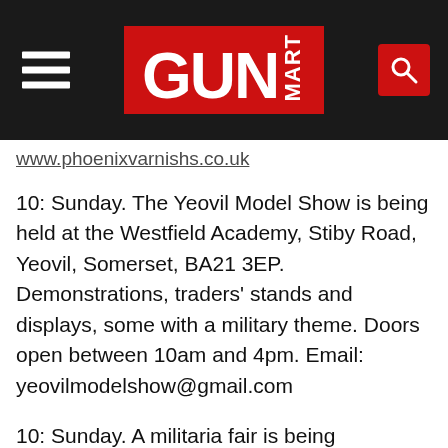GUN MART
www.phoenixvarnishs.co.uk
10: Sunday. The Yeovil Model Show is being held at the Westfield Academy, Stiby Road, Yeovil, Somerset, BA21 3EP. Demonstrations, traders' stands and displays, some with a military theme. Doors open between 10am and 4pm. Email: yeovilmodelshow@gmail.com
10: Sunday. A militaria fair is being held at the Wolverley Memorial Hall, Shatterford Lane,